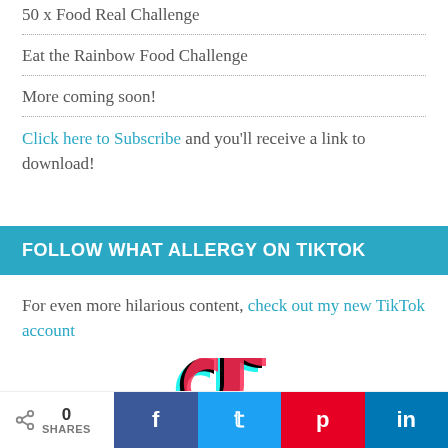50 x Food Real Challenge
Eat the Rainbow Food Challenge
More coming soon!
Click here to Subscribe and you'll receive a link to download!
FOLLOW WHAT ALLERGY ON TIKTOK
For even more hilarious content, check out my new TikTok account
[Figure (logo): TikTok logo partially visible]
0 SHARES | Facebook | Twitter | Pinterest | LinkedIn